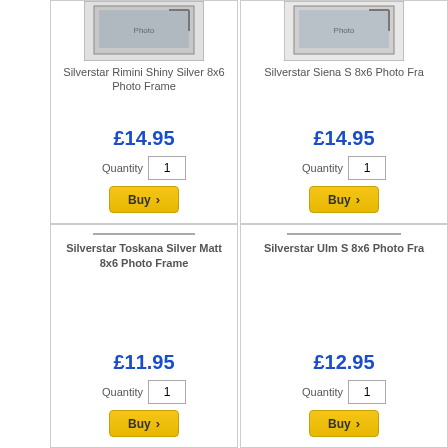[Figure (screenshot): Product thumbnail for Silverstar Rimini Shiny Silver 8x6 Photo Frame]
Silverstar Rimini Shiny Silver 8x6 Photo Frame
£14.95
Quantity 1
Buy
[Figure (screenshot): Product thumbnail for Silverstar Siena 8x6 Photo Frame]
Silverstar Siena S 8x6 Photo Fra
£14.95
Quantity 1
Buy
Silverstar Toskana Silver Matt 8x6 Photo Frame
£11.95
Quantity 1
Buy
Silverstar Ulm S 8x6 Photo Fra
£12.95
Quantity 1
Buy